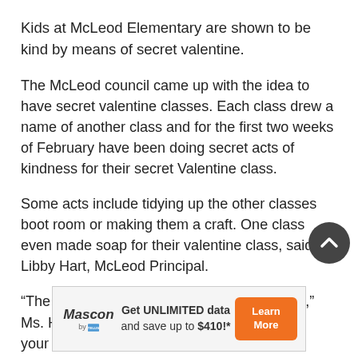Kids at McLeod Elementary are shown to be kind by means of secret valentine.
The McLeod council came up with the idea to have secret valentine classes. Each class drew a name of another class and for the first two weeks of February have been doing secret acts of kindness for their secret Valentine class.
Some acts include tidying up the other classes boot room or making them a craft. One class even made soap for their valentine class, said Libby Hart, McLeod Principal.
“The idea behind it is to be nice just because,” Ms. Hart said. “To do as many kind things for your secret class as you
[Figure (infographic): Advertisement banner for Mascon by TELUS: Get UNLIMITED data and save up to $410!* with a Learn More button]